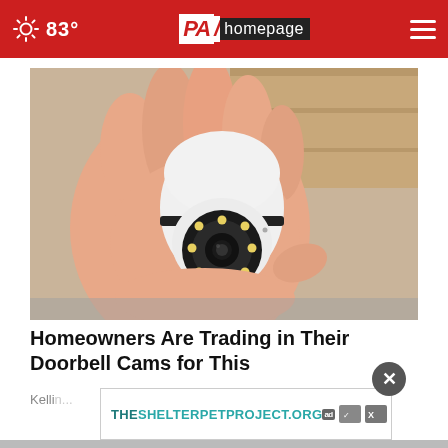83° PA homepage
[Figure (photo): A hand holding a small white egg-shaped security camera with a circular lens and LED lights around it, photographed against a wooden background.]
Homeowners Are Trading in Their Doorbell Cams for This
Kelli...
[Figure (other): Advertisement banner: THESHELTERPETPROJECT.ORG with ad network icons]